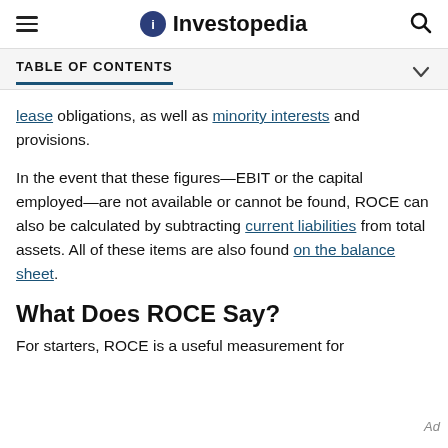Investopedia
TABLE OF CONTENTS
lease obligations, as well as minority interests and provisions.
In the event that these figures—EBIT or the capital employed—are not available or cannot be found, ROCE can also be calculated by subtracting current liabilities from total assets. All of these items are also found on the balance sheet.
What Does ROCE Say?
For starters, ROCE is a useful measurement for